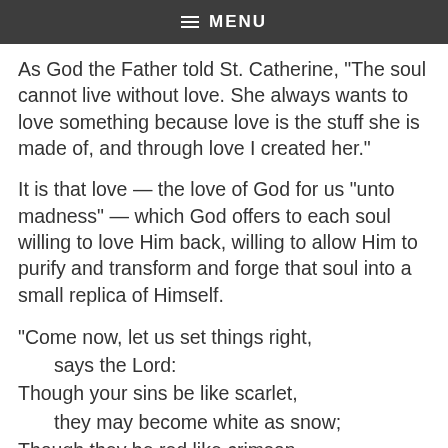≡ MENU
As God the Father told St. Catherine, "The soul cannot live without love. She always wants to love something because love is the stuff she is made of, and through love I created her."
It is that love — the love of God for us "unto madness" — which God offers to each soul willing to love Him back, willing to allow Him to purify and transform and forge that soul into a small replica of Himself.
"Come now, let us set things right,
    says the Lord:
Though your sins be like scarlet,
    they may become white as snow;
Though they be red like crimson,
    they may become white as wool."
(Isaiah 1:18)
[Figure (other): Blue donate button with white bold text reading 'Donate']